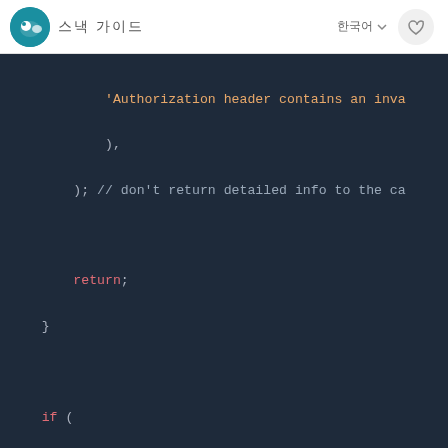스낵 가이드
[Figure (screenshot): Code screenshot showing JavaScript code with dark blue background. Code includes: 'Authorization header contains an inva... ), ); // don't return detailed info to the ca... return; } if ( !decodedNotVerified.header.kid || !keys[decodedNotVerified.header.kid] ) { logger.debug( `Invalid JWT token. Expected a known KID Object.keys(keys), }) but found ${decodedNotVerified.header]